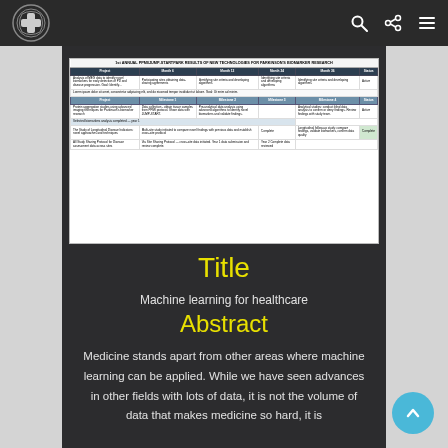Navigation bar with logo and icons (search, share, menu)
[Figure (table-as-image): A multi-column schedule or comparison table with dark header rows and small text, appearing as a miniature embedded document image]
Title
Machine learning for healthcare
Abstract
Medicine stands apart from other areas where machine learning can be applied. While we have seen advances in other fields with lots of data, it is not the volume of data that makes medicine so hard, it is